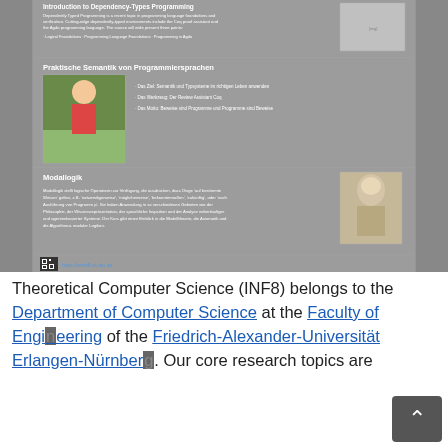[Figure (screenshot): Screenshot of a university course catalog webpage (www8.cs.fau.de) showing three course listings on a gray background: 1) A partially visible course on 'Introduction to Dependency-Type Programming', 2) 'Praktische Semantik von Programmiersprachen' with an anime-style illustration of a student, 3) 'Modallogik' with a bust photo of Aristotle. The slide includes a QR code and URL https://www8.cs.fau.de at the bottom.]
Theoretical Computer Science (INF8) belongs to the Department of Computer Science at the Faculty of Engineering of the Friedrich-Alexander-Universität Erlangen-Nürnberg. Our core research topics are